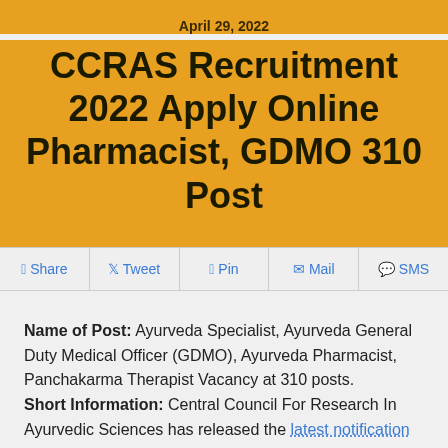April 29, 2022
CCRAS Recruitment 2022 Apply Online Pharmacist, GDMO 310 Post
Share  Tweet  Pin  Mail  SMS
Name of Post: Ayurveda Specialist, Ayurveda General Duty Medical Officer (GDMO), Ayurveda Pharmacist, Panchakarma Therapist Vacancy at 310 posts. Short Information: Central Council For Research In Ayurvedic Sciences has released the latest notification